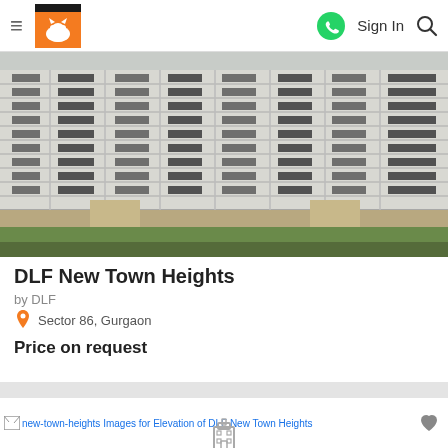≡ [Logo] Sign In 🔍
[Figure (photo): Exterior photo of DLF New Town Heights high-rise apartment building under construction, showing multiple floors with balconies and windows, set against an overcast sky with green grass in the foreground.]
DLF New Town Heights
by DLF
Sector 86, Gurgaon
Price on request
[Figure (photo): Broken image placeholder with alt text: new-town-heights Images for Elevation of DLF New Town Heights]
[Figure (illustration): Building/property icon at bottom of page]